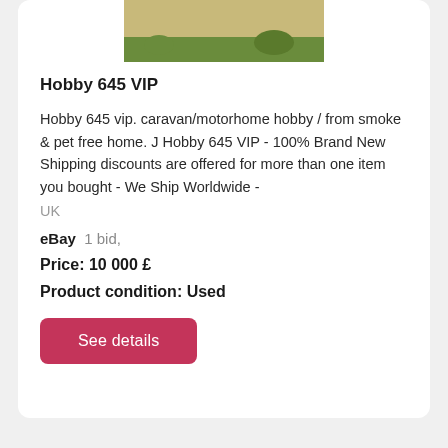[Figure (photo): Partial photo of sandy/gravelly ground with patches of green grass, shown at top of listing card]
Hobby 645 VIP
Hobby 645 vip. caravan/motorhome hobby / from smoke & pet free home. J Hobby 645 VIP - 100% Brand New Shipping discounts are offered for more than one item you bought - We Ship Worldwide -
UK
eBay  1 bid,
Price: 10 000 £
Product condition: Used
See details